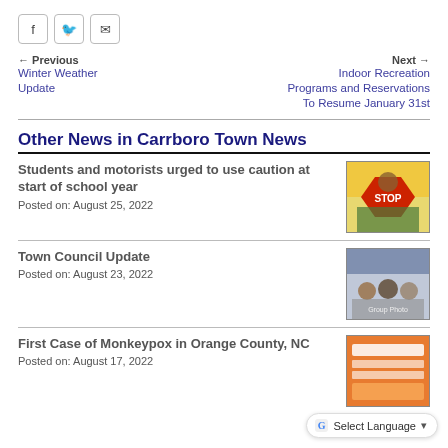[Figure (other): Social sharing icons: Facebook, Twitter, Email]
← Previous
Winter Weather Update
Next →
Indoor Recreation Programs and Reservations To Resume January 31st
Other News in Carrboro Town News
Students and motorists urged to use caution at start of school year
Posted on: August 25, 2022
[Figure (photo): School crossing guard holding a STOP sign in front of a school bus]
Town Council Update
Posted on: August 23, 2022
[Figure (photo): Town Council members group photo]
First Case of Monkeypox in Orange County, NC
Posted on: August 17, 2022
[Figure (photo): Monkeypox informational graphic with orange background]